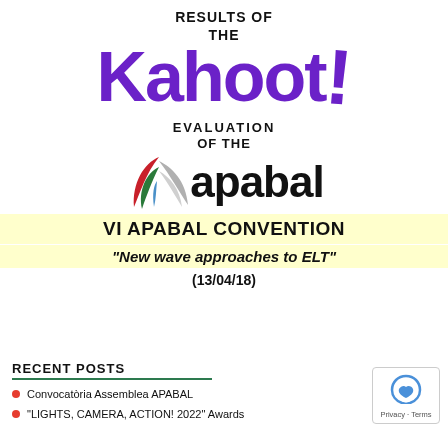RESULTS OF THE Kahoot! EVALUATION OF THE apabal VI APABAL CONVENTION "New wave approaches to ELT" (13/04/18)
RECENT POSTS
Convocatòria Assemblea APABAL
"LIGHTS, CAMERA, ACTION! 2022" Awards